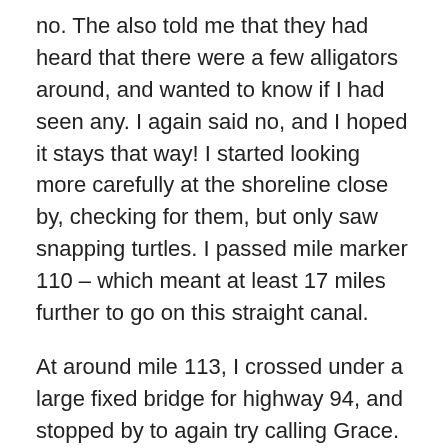no.  The also told me that they had heard that there were a few alligators around, and wanted to know if I had seen any.  I again said no, and I hoped it stays that way!  I started looking more carefully at the shoreline close by, checking for them, but only saw snapping turtles.  I passed mile marker 110 – which meant at least 17 miles further to go on this straight canal.
At around mile 113, I crossed under a large fixed bridge for highway 94, and stopped by to again try calling Grace.  No Service.  More worries.  Mile marker 115 came and went.  Still nothing but woods and marsh around me, and no sign of any houses anywhere.  I continued to push through the wind and finally passed mile marker 120.  I could see another fixed bridge way ahead of me, and paddled another hour to a beach on the right, where I could eat lunch and drink water at a table.  I again tried to